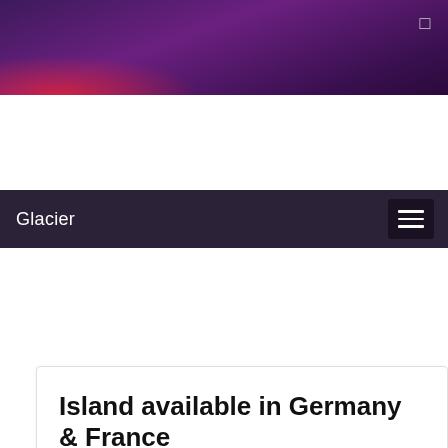[Figure (photo): Dark purple gradient banner at the top of the page with a red/pink glow at the bottom left, resembling a night or abstract background image. A small icon is visible in the top right corner.]
Glacier
Island available in Germany & France